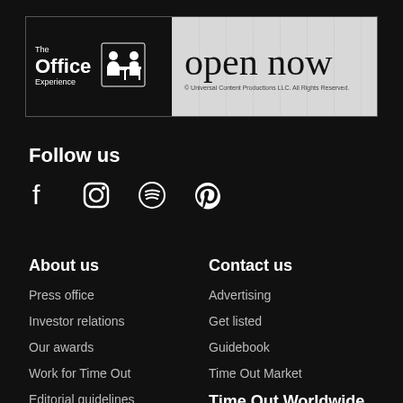[Figure (screenshot): The Office Experience advertisement banner — black left side with logo and white figure icons, grey right side with 'open now' text in large serif font and copyright notice]
Follow us
[Figure (infographic): Social media icons: Facebook, Instagram, Spotify, Pinterest — white icons on dark background]
About us
Contact us
Press office
Advertising
Investor relations
Get listed
Our awards
Guidebook
Work for Time Out
Time Out Market
Editorial guidelines
Time Out Worldwide
Privacy notice
Time Out Madrid